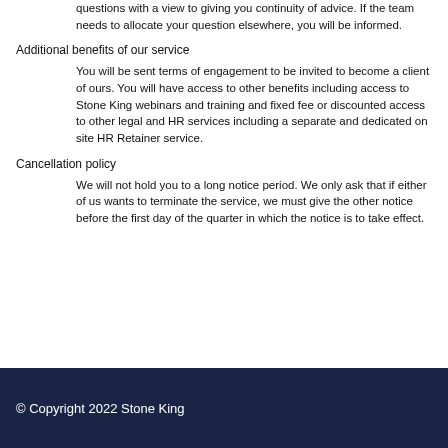questions with a view to giving you continuity of advice. If the team needs to allocate your question elsewhere, you will be informed.
Additional benefits of our service
You will be sent terms of engagement to be invited to become a client of ours. You will have access to other benefits including access to Stone King webinars and training and fixed fee or discounted access to other legal and HR services including a separate and dedicated on site HR Retainer service.
Cancellation policy
We will not hold you to a long notice period. We only ask that if either of us wants to terminate the service, we must give the other notice before the first day of the quarter in which the notice is to take effect.
© Copyright 2022 Stone King